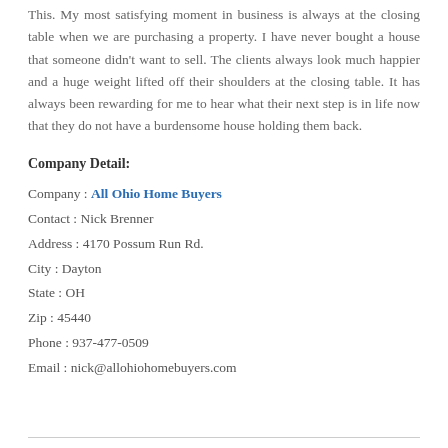This. My most satisfying moment in business is always at the closing table when we are purchasing a property. I have never bought a house that someone didn't want to sell. The clients always look much happier and a huge weight lifted off their shoulders at the closing table. It has always been rewarding for me to hear what their next step is in life now that they do not have a burdensome house holding them back.
Company Detail:
Company : All Ohio Home Buyers
Contact : Nick Brenner
Address : 4170 Possum Run Rd.
City : Dayton
State : OH
Zip : 45440
Phone : 937-477-0509
Email : nick@allohiohomebuyers.com